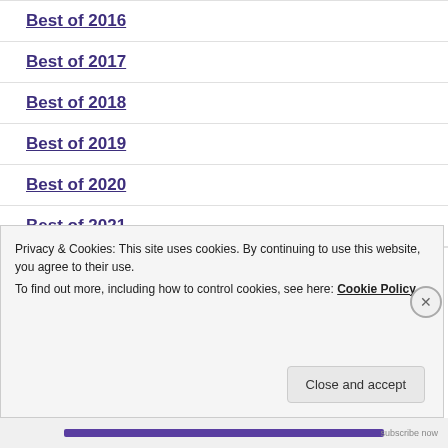Best of 2016
Best of 2017
Best of 2018
Best of 2019
Best of 2020
Best of 2021
Best of 2022 (partial)
Privacy & Cookies: This site uses cookies. By continuing to use this website, you agree to their use. To find out more, including how to control cookies, see here: Cookie Policy
Close and accept